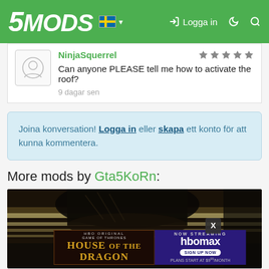5MODS — Logga in
NinjaSquerrel
Can anyone PLEASE tell me how to activate the roof?
9 dagar sen
Joina konversation! Logga in eller skapa ett konto för att kunna kommentera.
More mods by Gta5KoRn:
[Figure (screenshot): A dark game screenshot showing a close-up of a surface with a House of the Dragon HBO Max advertisement overlay at the bottom, with an X close button.]